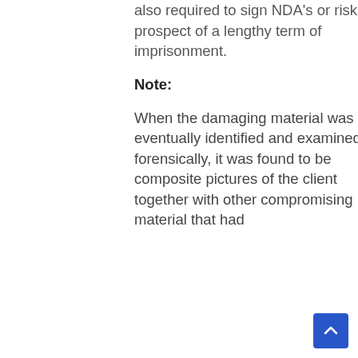also required to sign NDA's or risk the prospect of a lengthy term of imprisonment.
Note:
When the damaging material was eventually identified and examined forensically, it was found to be composite pictures of the client together with other compromising material that had